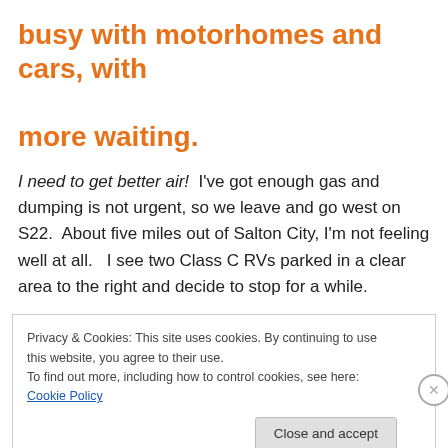busy with motorhomes and cars, with more waiting.
I need to get better air!  I've got enough gas and dumping is not urgent, so we leave and go west on S22.  About five miles out of Salton City, I'm not feeling well at all.   I see two Class C RVs parked in a clear area to the right and decide to stop for a while.
Privacy & Cookies: This site uses cookies. By continuing to use this website, you agree to their use. To find out more, including how to control cookies, see here: Cookie Policy
Close and accept